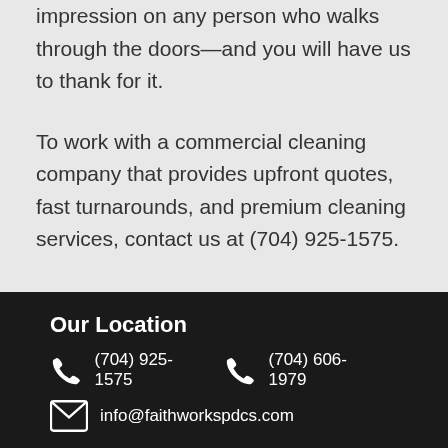impression on any person who walks through the doors—and you will have us to thank for it.
To work with a commercial cleaning company that provides upfront quotes, fast turnarounds, and premium cleaning services, contact us at (704) 925-1575.
Our Location
(704) 925-1575
(704) 606-1979
info@faithworkspdcs.com